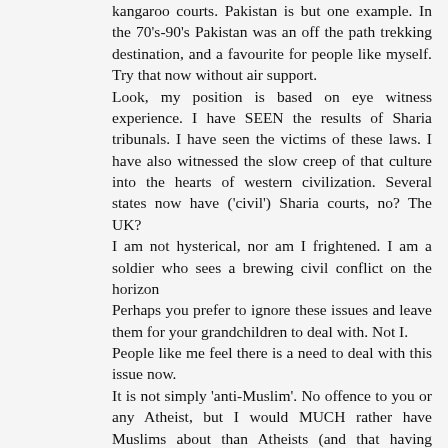kangaroo courts. Pakistan is but one example. In the 70's-90's Pakistan was an off the path trekking destination, and a favourite for people like myself. Try that now without air support. Look, my position is based on eye witness experience. I have SEEN the results of Sharia tribunals. I have seen the victims of these laws. I have also witnessed the slow creep of that culture into the hearts of western civilization. Several states now have ('civil') Sharia courts, no? The UK? I am not hysterical, nor am I frightened. I am a soldier who sees a brewing civil conflict on the horizon Perhaps you prefer to ignore these issues and leave them for your grandchildren to deal with. Not I. People like me feel there is a need to deal with this issue now. It is not simply 'anti-Muslim'. No offence to you or any Atheist, but I would MUCH rather have Muslims about than Atheists (and that having fought their fringe) so far as morality and depth of